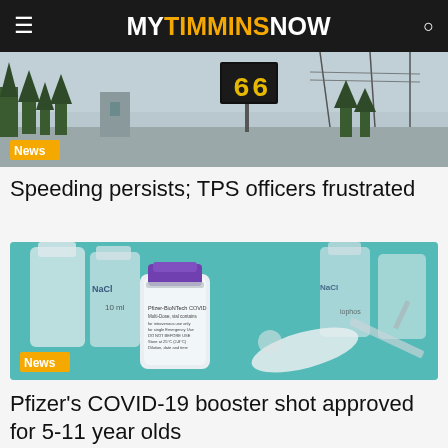MY TIMMINS NOW
[Figure (photo): Speed sign showing '66' with trees and overcast sky in background, with orange 'News' badge overlay]
Speeding persists; TPS officers frustrated
[Figure (photo): Pfizer-BioNTech COVID-19 vaccine vials and syringes on a teal surface, with orange 'News' badge overlay]
Pfizer's COVID-19 booster shot approved for 5-11 year olds